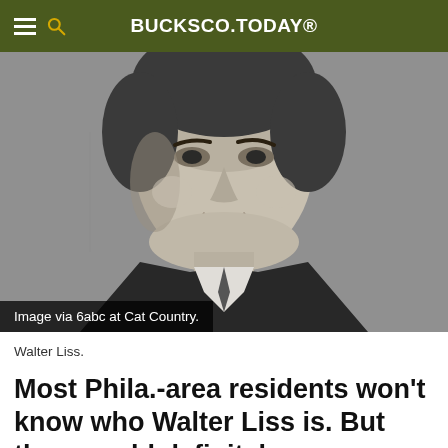BUCKSCO.TODAY
[Figure (photo): Grayscale close-up portrait of Walter Liss, a middle-aged man in a suit, looking directly at camera.]
Image via 6abc at Cat Country.
Walter Liss.
Most Phila.-area residents won't know who Walter Liss is. But they would definitely recognize his work if they heard it. Liss was co-writer of one of the best-known theme